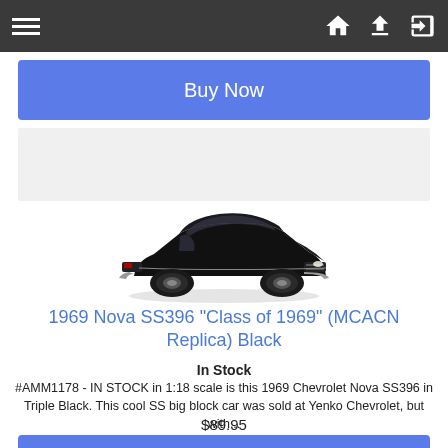Navigation bar with hamburger menu, home, upload, and login icons
Buy Now
[Figure (photo): Black 1969 Chevrolet Nova SS396 die-cast model car, side view, shown against white background]
1969 Nova SS396 "Class of 1969" (MCACN Replica) Black
In Stock
#AMM1178 - IN STOCK in 1:18 scale is this 1969 Chevrolet Nova SS396 in Triple Black. This cool SS big block car was sold at Yenko Chevrolet, but with...
$89.95
Buy Now